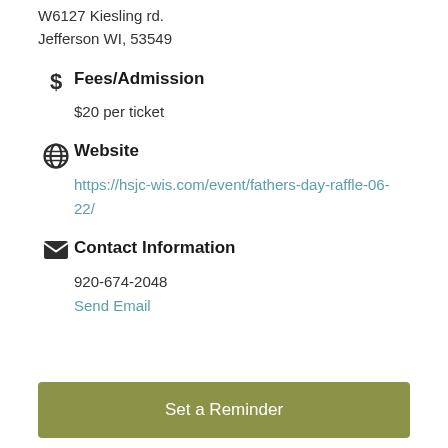W6127 Kiesling rd.
Jefferson WI, 53549
Fees/Admission
$20 per ticket
Website
https://hsjc-wis.com/event/fathers-day-raffle-06-22/
Contact Information
920-674-2048
Send Email
Set a Reminder